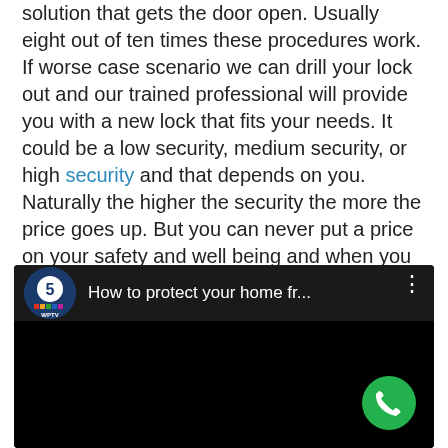solution that gets the door open. Usually eight out of ten times these procedures work. If worse case scenario we can drill your lock out and our trained professional will provide you with a new lock that fits your needs. It could be a low security, medium security, or high security and that depends on you. Naturally the higher the security the more the price goes up. But you can never put a price on your safety and well being and when you watch this video you will see what I mean.
[Figure (screenshot): Embedded video player showing WPTV Channel 5 news video titled 'How to protect your home fr...' with a black video frame and a green phone button overlay in the bottom right corner.]